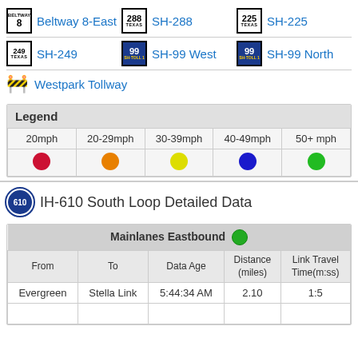Beltway 8-East
SH-288
SH-225
SH-249
SH-99 West
SH-99 North
Westpark Tollway
| Legend |  |  |  |  |
| --- | --- | --- | --- | --- |
| 20mph | 20-29mph | 30-39mph | 40-49mph | 50+ mph |
| ● (red) | ● (orange) | ● (yellow) | ● (blue) | ● (green) |
IH-610 South Loop Detailed Data
| From | To | Data Age | Distance (miles) | Link Travel Time(m:ss) |
| --- | --- | --- | --- | --- |
| Evergreen | Stella Link | 5:44:34 AM | 2.10 | 1:5 |